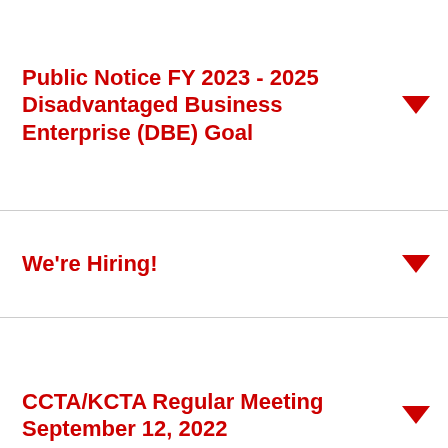Public Notice FY 2023 - 2025 Disadvantaged Business Enterprise (DBE) Goal
We're Hiring!
CCTA/KCTA Regular Meeting September 12, 2022
Information
History